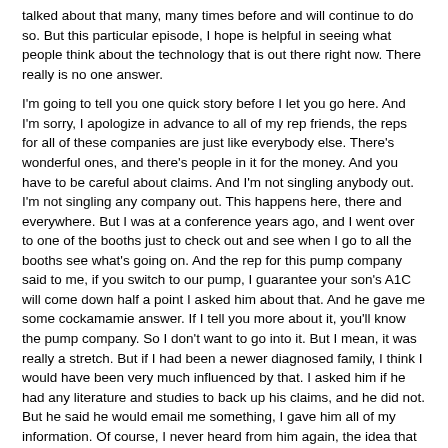talked about that many, many times before and will continue to do so. But this particular episode, I hope is helpful in seeing what people think about the technology that is out there right now. There really is no one answer.
I'm going to tell you one quick story before I let you go here. And I'm sorry, I apologize in advance to all of my rep friends, the reps for all of these companies are just like everybody else. There's wonderful ones, and there's people in it for the money. And you have to be careful about claims. And I'm not singling anybody out. I'm not singling any company out. This happens here, there and everywhere. But I was at a conference years ago, and I went over to one of the booths just to check out and see when I go to all the booths see what's going on. And the rep for this pump company said to me, if you switch to our pump, I guarantee your son's A1C will come down half a point I asked him about that. And he gave me some cockamamie answer. If I tell you more about it, you'll know the pump company. So I don't want to go into it. But I mean, it was really a stretch. But if I had been a newer diagnosed family, I think I would have been very much influenced by that. I asked him if he had any literature and studies to back up his claims, and he did not. But he said he would email me something, I gave him all of my information. Of course, I never heard from him again, the idea that switching technology can lower your a one c by a certain point, and that's why you should switch. That's a tough one. I just said that control IQ dropped my son's A1C significantly, right. But you know what? It's the whole story of him. It's not just that pump system. If we were new to pumping, if we didn't have the settings right, if he didn't know how to, you know, do certain things if he was going through a phase or something where he didn't want to do anything. If he wasn't having success with the CGM